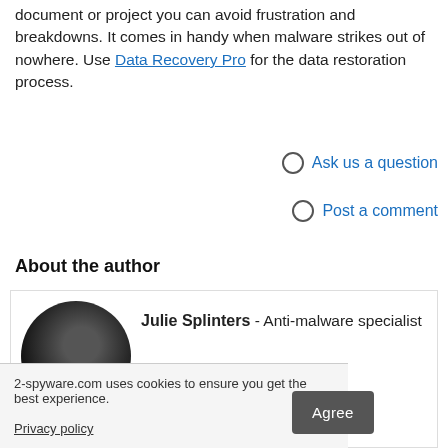document or project you can avoid frustration and breakdowns. It comes in handy when malware strikes out of nowhere. Use Data Recovery Pro for the data restoration process.
Ask us a question
Post a comment
About the author
Julie Splinters - Anti-malware specialist
helped you ...sfied with our ...onsider
2-spyware.com uses cookies to ensure you get the best experience.
Privacy policy